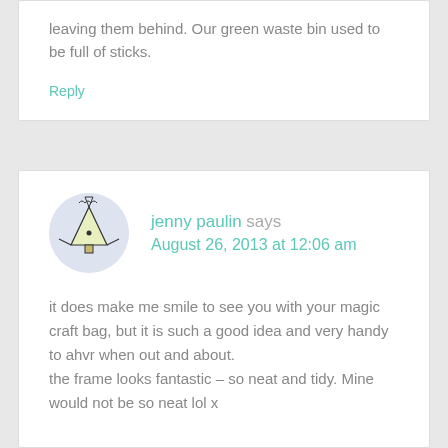leaving them behind. Our green waste bin used to be full of sticks.
Reply
[Figure (illustration): Circular avatar with light blue/purple background showing a cartoon Christmas tree character illustration]
jenny paulin says
August 26, 2013 at 12:06 am
it does make me smile to see you with your magic craft bag, but it is such a good idea and very handy to ahvr when out and about.
the frame looks fantastic – so neat and tidy. Mine would not be so neat lol x